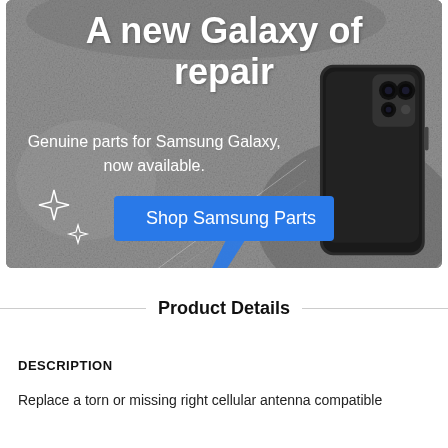[Figure (photo): Promotional banner with gray concrete texture background showing Samsung Galaxy phone and repair tools. Large white bold text reads 'A new Galaxy of repair'. Subtitle text reads 'Genuine parts for Samsung Galaxy, now available.' Blue button labeled 'Shop Samsung Parts'. White sparkle/star decorative elements on the left.]
Product Details
DESCRIPTION
Replace a torn or missing right cellular antenna compatible